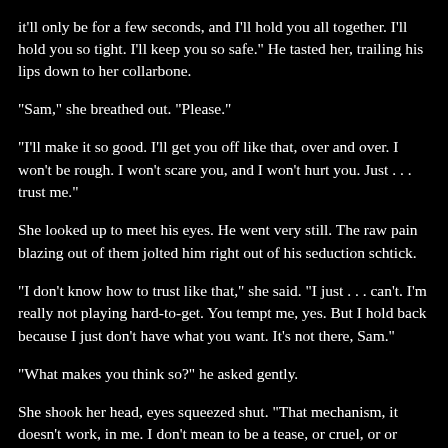it'll only be for a few seconds, and I'll hold you all together. I'll hold you so tight. I'll keep you so safe." He tasted her, trailing his lips down to her collarbone.
"Sam," she breathed out. "Please."
"I'll make it so good. I'll get you off like that, over and over. I won't be rough. I won't scare you, and I won't hurt you. Just . . . trust me."
She looked up to meet his eyes. He went very still. The raw pain blazing out of them jolted him right out of his seduction schtick.
"I don't know how to trust like that," she said. "I just . . . can't. I'm really not playing hard-to-get. You tempt me, yes. But I hold back because I just don't have what you want. It's not there, Sam."
"What makes you think so?" he asked gently.
She shook her head, eyes squeezed shut. "That mechanism, it doesn't work, in me. I don't mean to be a tease, or cruel, or or disdainful. I never wanted to be a frigid bitch. It's sad and it's awful, but it's the truth. It's my reality, and I'm sorry if I... I'm not